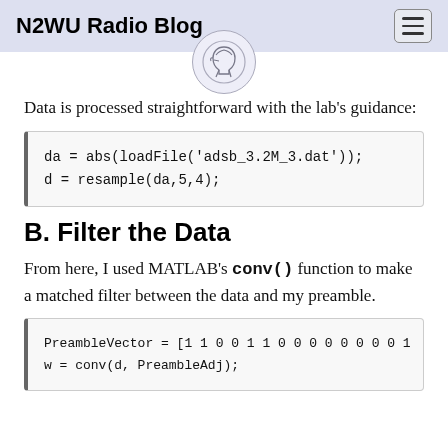N2WU Radio Blog
[Figure (logo): Circular logo with a knight/spartan helmet illustration]
Data is processed straightforward with the lab’s guidance:
B. Filter the Data
From here, I used MATLAB’s conv() function to make a matched filter between the data and my preamble.